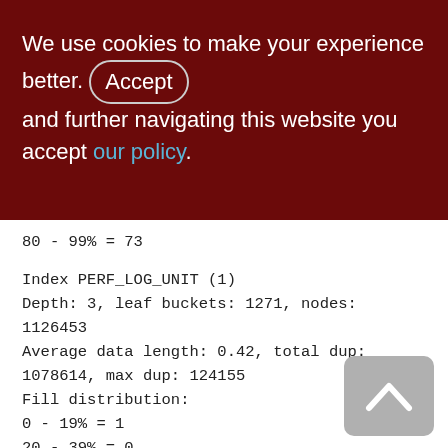We use cookies to make your experience better. By accepting and further navigating this website you accept our policy.
80 - 99% = 73
Index PERF_LOG_UNIT (1)
Depth: 3, leaf buckets: 1271, nodes: 1126453
Average data length: 0.42, total dup: 1078614, max dup: 124155
Fill distribution:
0 - 19% = 1
20 - 39% = 0
40 - 59% = 875
60 - 79% = 214